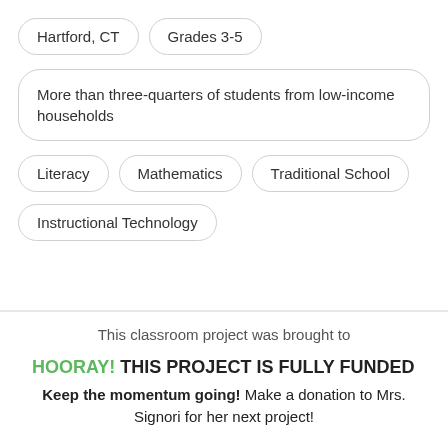Hartford, CT
Grades 3-5
More than three-quarters of students from low-income households
Literacy
Mathematics
Traditional School
Instructional Technology
This classroom project was brought to
HOORAY! THIS PROJECT IS FULLY FUNDED
Keep the momentum going! Make a donation to Mrs. Signori for her next project!
Help Mrs. Signori